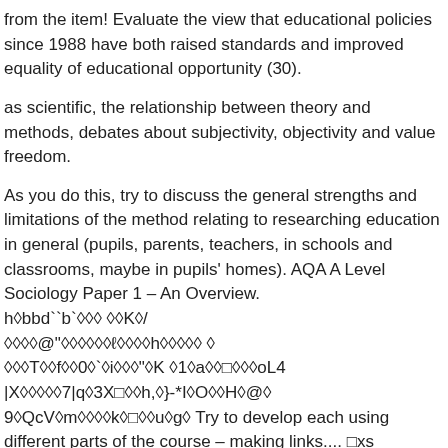from the item! Evaluate the view that educational policies since 1988 have both raised standards and improved equality of educational opportunity (30).
as scientific, the relationship between theory and methods, debates about subjectivity, objectivity and value freedom.
As you do this, try to discuss the general strengths and limitations of the method relating to researching education in general (pupils, parents, teachers, in schools and classrooms, maybe in pupils' homes). AQA A Level Sociology Paper 1 – An Overview.
h◆bbd``b`◆◆◆ ◆◆K◆/
◆◆◆◆@"◆◆◆◆◆◆ℓ◆◆◆◆h◆◆◆◆◆ ◆
◆◆◆T◆◆f◆◆0◆`◆i◆◆◆"◆K ◆1◆a◆◆□◆◆◆oL4
|X◆◆◆◆◆7|q◆3X□◆◆h,◆}-*I◆O◆◆H◆@◆
9◆QcV◆m◆◆◆◆k◆□◆◆u◆g◆ Try to develop each using different parts of the course – making links.... □xs
FU◆6◆◆◆8J◆◆◆◆vkfA◆
◆Dz◆8◆◆◆◆τιC◆,◆◆'n"Bu◆◆◆i◆f +◆(◆◆◆◆◆◆!
◆i1◆lo7◆◆◆◆'‰(◆◆,V◆◆:◆"i◆Z◆◆◆◆◆RM◆R◆◆◆